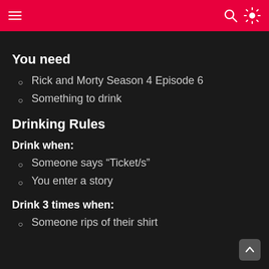You need
Rick and Morty Season 4 Episode 6
Something to drink
Drinking Rules
Drink when:
Someone says “Ticket/s”
You enter a story
Drink 3 times when:
Someone rips of their shirt